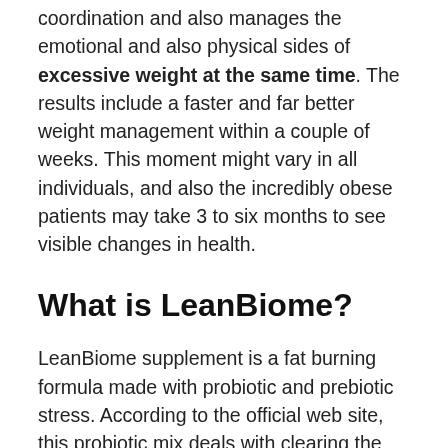coordination and also manages the emotional and also physical sides of excessive weight at the same time. The results include a faster and far better weight management within a couple of weeks. This moment might vary in all individuals, and also the incredibly obese patients may take 3 to six months to see visible changes in health.
What is LeanBiome?
LeanBiome supplement is a fat burning formula made with probiotic and prebiotic stress. According to the official web site, this probiotic mix deals with clearing the body from toxic substances, oxidative anxiety, complimentary radicals, and various other waste products preventing fat burning.